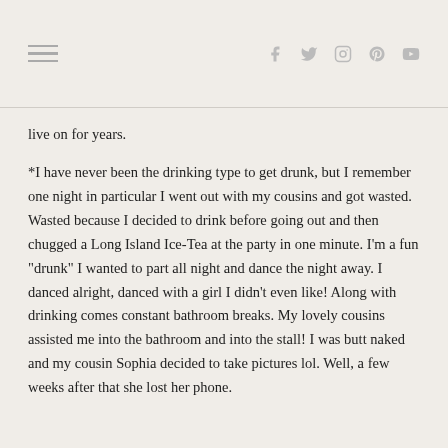Navigation menu and social icons (f, t, instagram, pinterest, youtube)
live on for years.
*I have never been the drinking type to get drunk, but I remember one night in particular I went out with my cousins and got wasted. Wasted because I decided to drink before going out and then chugged a Long Island Ice-Tea at the party in one minute. I'm a fun "drunk" I wanted to part all night and dance the night away. I danced alright, danced with a girl I didn't even like! Along with drinking comes constant bathroom breaks. My lovely cousins assisted me into the bathroom and into the stall! I was butt naked and my cousin Sophia decided to take pictures lol. Well, a few weeks after that she lost her phone.